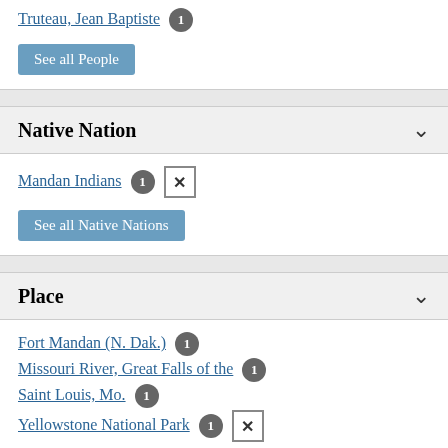Truteau, Jean Baptiste 1
See all People
Native Nation
Mandan Indians 1 [x]
See all Native Nations
Place
Fort Mandan (N. Dak.) 1
Missouri River, Great Falls of the 1
Saint Louis, Mo. 1
Yellowstone National Park 1 [x]